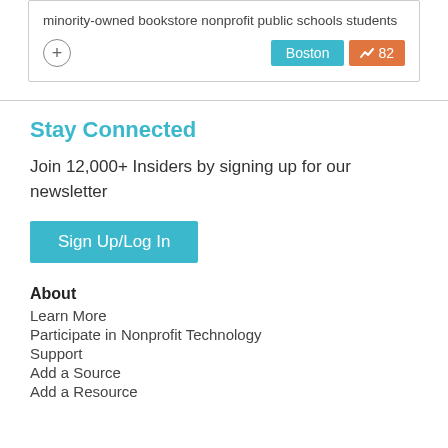minority-owned bookstore nonprofit public schools students
Boston  82
Stay Connected
Join 12,000+ Insiders by signing up for our newsletter
Sign Up/Log In
About
Learn More
Participate in Nonprofit Technology
Support
Add a Source
Add a Resource